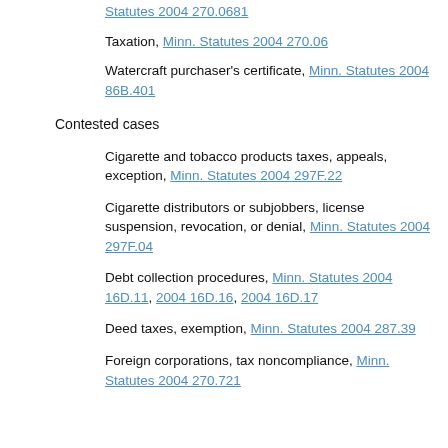Statutes 2004 270.0681
Taxation, Minn. Statutes 2004 270.06
Watercraft purchaser's certificate, Minn. Statutes 2004 86B.401
Contested cases
Cigarette and tobacco products taxes, appeals, exception, Minn. Statutes 2004 297F.22
Cigarette distributors or subjobbers, license suspension, revocation, or denial, Minn. Statutes 2004 297F.04
Debt collection procedures, Minn. Statutes 2004 16D.11, 2004 16D.16, 2004 16D.17
Deed taxes, exemption, Minn. Statutes 2004 287.39
Foreign corporations, tax noncompliance, Minn. Statutes 2004 270.721